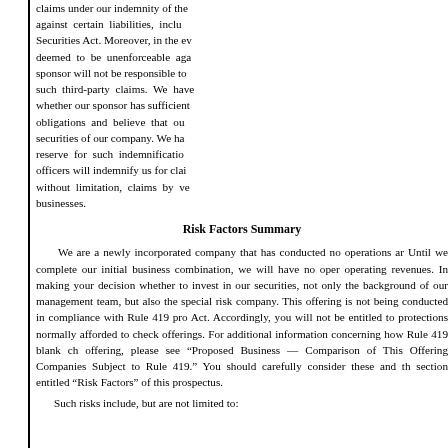claims under our indemnity of the against certain liabilities, inclu Securities Act. Moreover, in the ev deemed to be unenforceable aga sponsor will not be responsible to such third-party claims. We have whether our sponsor has sufficient obligations and believe that ou securities of our company. We ha reserve for such indemnificatio officers will indemnify us for clai without limitation, claims by ve businesses.
Risk Factors Summary
We are a newly incorporated company that has conducted no operations ar Until we complete our initial business combination, we will have no oper operating revenues. In making your decision whether to invest in our securities, not only the background of our management team, but also the special risk company. This offering is not being conducted in compliance with Rule 419 pro Act. Accordingly, you will not be entitled to protections normally afforded to check offerings. For additional information concerning how Rule 419 blank ch offering, please see “Proposed Business — Comparison of This Offering Companies Subject to Rule 419.” You should carefully consider these and th section entitled “Risk Factors” of this prospectus.
Such risks include, but are not limited to: